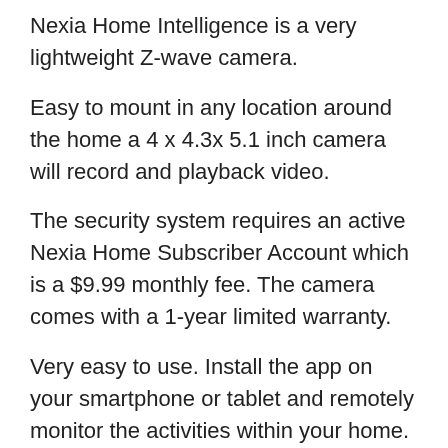Nexia Home Intelligence is a very lightweight Z-wave camera.
Easy to mount in any location around the home a 4 x 4.3x 5.1 inch camera will record and playback video.
The security system requires an active Nexia Home Subscriber Account which is a $9.99 monthly fee. The camera comes with a 1-year limited warranty.
Very easy to use. Install the app on your smartphone or tablet and remotely monitor the activities within your home.